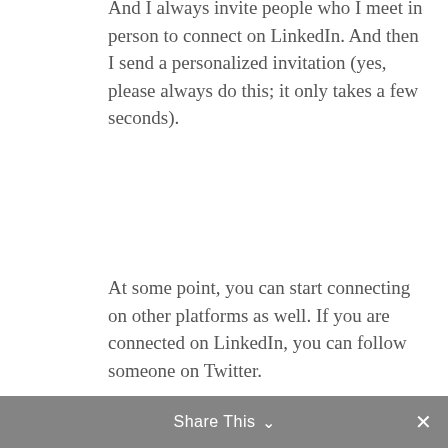And I always invite people who I meet in person to connect on LinkedIn. And then I send a personalized invitation (yes, please always do this; it only takes a few seconds).
At some point, you can start connecting on other platforms as well. If you are connected on LinkedIn, you can follow someone on Twitter.
Or if you are members of the same Facebook Group, you can invite her to connect on LinkedIn.
It is also imperative to interact with your community on social media. Read more about this in my post: What You Must Do If You Want to Build a Thriving Community.
Share This